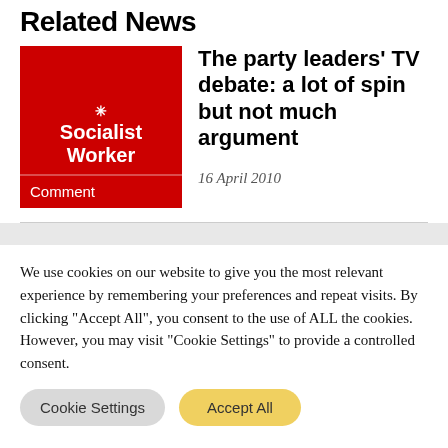Related News
[Figure (logo): Socialist Worker red square logo with 'Comment' badge at bottom]
The party leaders' TV debate: a lot of spin but not much argument
16 April 2010
We use cookies on our website to give you the most relevant experience by remembering your preferences and repeat visits. By clicking "Accept All", you consent to the use of ALL the cookies. However, you may visit "Cookie Settings" to provide a controlled consent.